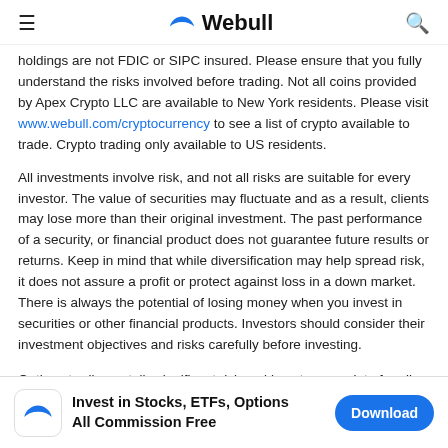≡  Webull  🔍
holdings are not FDIC or SIPC insured. Please ensure that you fully understand the risks involved before trading. Not all coins provided by Apex Crypto LLC are available to New York residents. Please visit www.webull.com/cryptocurrency to see a list of crypto available to trade. Crypto trading only available to US residents.
All investments involve risk, and not all risks are suitable for every investor. The value of securities may fluctuate and as a result, clients may lose more than their original investment. The past performance of a security, or financial product does not guarantee future results or returns. Keep in mind that while diversification may help spread risk, it does not assure a profit or protect against loss in a down market. There is always the potential of losing money when you invest in securities or other financial products. Investors should consider their investment objectives and risks carefully before investing.
Options trading entails significant risk and is not appropriate for all investors. Option investors can rapidly lose the value of their investment in a short period of time and incur permanent loss by expiration date. Losses
Invest in Stocks, ETFs, Options All Commission Free